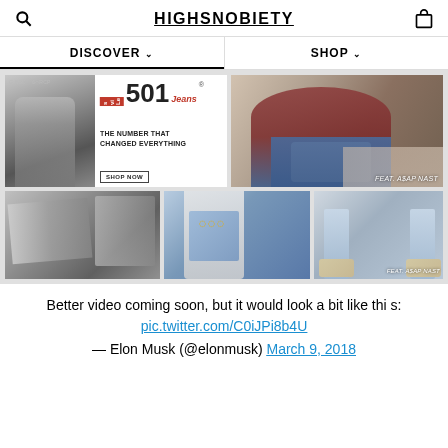HIGHSNOBIETY
DISCOVER  SHOP
[Figure (screenshot): Levi's 501 Jeans advertisement with black and white photo, text 'THE NUMBER THAT CHANGED EVERYTHING', 'SHOP NOW' button]
[Figure (photo): A$AP Nast posing in Levi's jeans, reclining on fabric surface, wearing dark red jacket and white shirt. Label: FEAT. A$AP NAST]
[Figure (photo): Close-up of jeans/denim fabric in black and white]
[Figure (photo): Person in light denim jacket with gold chain, reaching into pocket]
[Figure (photo): A$AP Nast legs and sneakers, light wash jeans. Label: FEAT. A$AP NAST]
Better video coming soon, but it would look a bit like this: pic.twitter.com/C0iJPi8b4U
— Elon Musk (@elonmusk) March 9, 2018